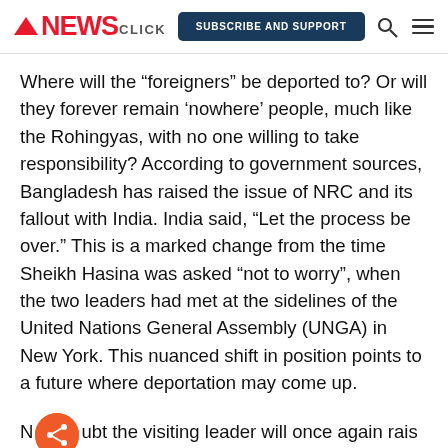NewsClick — SUBSCRIBE AND SUPPORT
Where will the “foreigners” be deported to? Or will they forever remain ‘nowhere’ people, much like the Rohingyas, with no one willing to take responsibility? According to government sources, Bangladesh has raised the issue of NRC and its fallout with India. India said, “Let the process be over.” This is a marked change from the time Sheikh Hasina was asked “not to worry”, when the two leaders had met at the sidelines of the United Nations General Assembly (UNGA) in New York. This nuanced shift in position points to a future where deportation may come up.
No doubt the visiting leader will once again raise the issue in her meeting on Saturday with the